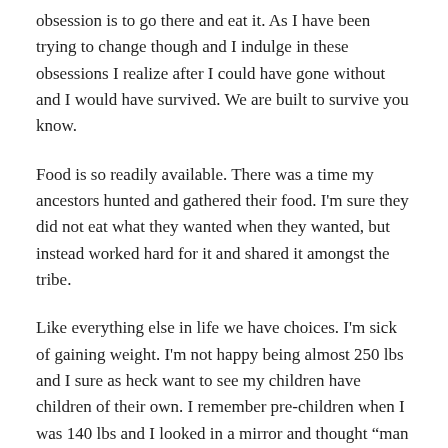obsession is to go there and eat it. As I have been trying to change though and I indulge in these obsessions I realize after I could have gone without and I would have survived. We are built to survive you know.
Food is so readily available. There was a time my ancestors hunted and gathered their food. I'm sure they did not eat what they wanted when they wanted, but instead worked hard for it and shared it amongst the tribe.
Like everything else in life we have choices. I'm sick of gaining weight. I'm not happy being almost 250 lbs and I sure as heck want to see my children have children of their own. I remember pre-children when I was 140 lbs and I looked in a mirror and thought “man I am fat” ugh to only go back and tell my thin self to love myself more and to dig deep for that self love and self respect.
I am on day 5 of intermittent fasting for my second time. The first